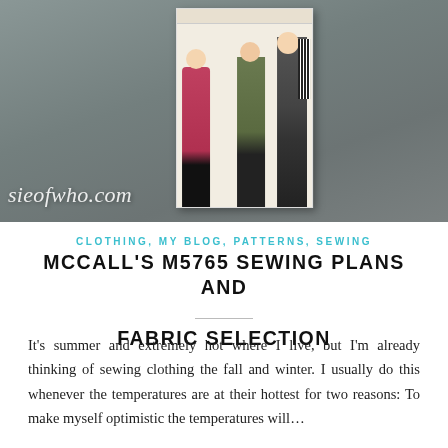[Figure (photo): Photo of a McCall's M5765 sewing pattern envelope showing fashion illustrations of a girl in a red cape coat and a couple in fall/winter outfits, placed on a gray surface. Watermark text 'sieofwho.com' appears in white italic script at bottom left.]
CLOTHING, MY BLOG, PATTERNS, SEWING
MCCALL'S M5765 SEWING PLANS AND FABRIC SELECTION
It's summer and extremely hot where I live, but I'm already thinking of sewing clothing the fall and winter. I usually do this whenever the temperatures are at their hottest for two reasons: To make myself optimistic the temperatures will…